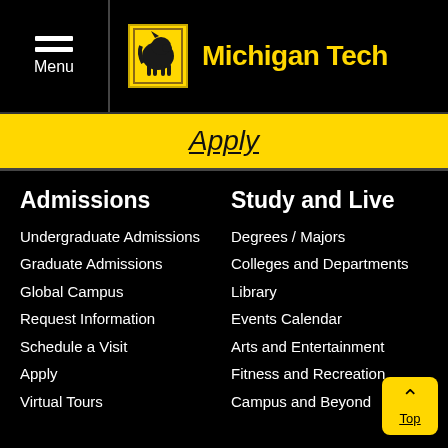Menu | Michigan Tech
Apply
Admissions
Undergraduate Admissions
Graduate Admissions
Global Campus
Request Information
Schedule a Visit
Apply
Virtual Tours
Study and Live
Degrees / Majors
Colleges and Departments
Library
Events Calendar
Arts and Entertainment
Fitness and Recreation
Campus and Beyond
Top